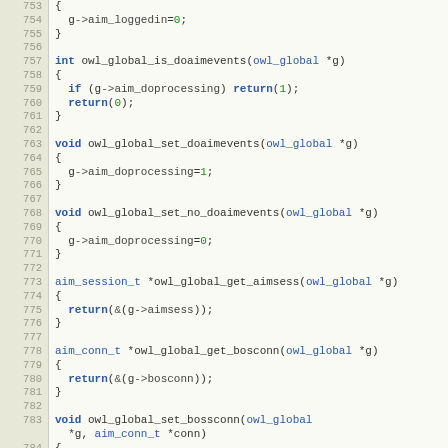Source code listing, lines 753-784, C programming language functions for owl_global including aim_loggedin, aim_doprocessing, aimsess, bosconn setters and getters.